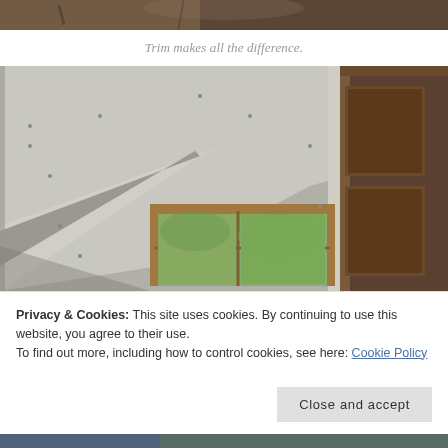[Figure (photo): Partial top view of a room/workshop, dark and brownish tones, cropped at top of page]
Trim makes all the difference.
[Figure (photo): Interior room under construction showing drywall on angled ceiling/walls with sloped staircase angle, wood-framed window with green outdoor view, wooden door frame on right side, unfinished construction state]
Privacy & Cookies: This site uses cookies. By continuing to use this website, you agree to their use.
To find out more, including how to control cookies, see here: Cookie Policy
[Figure (photo): Bottom sliver of another photo, partially visible at bottom of page]